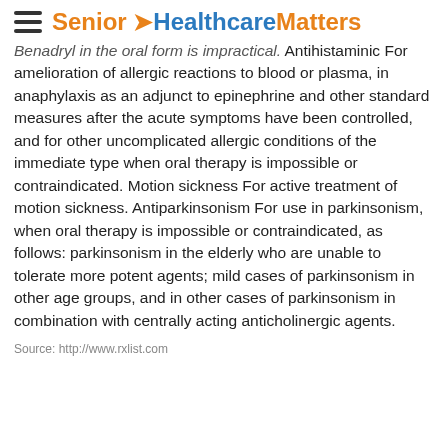Senior Healthcare Matters
Benadryl in the oral form is impractical. Antihistaminic For amelioration of allergic reactions to blood or plasma, in anaphylaxis as an adjunct to epinephrine and other standard measures after the acute symptoms have been controlled, and for other uncomplicated allergic conditions of the immediate type when oral therapy is impossible or contraindicated. Motion sickness For active treatment of motion sickness. Antiparkinsonism For use in parkinsonism, when oral therapy is impossible or contraindicated, as follows: parkinsonism in the elderly who are unable to tolerate more potent agents; mild cases of parkinsonism in other age groups, and in other cases of parkinsonism in combination with centrally acting anticholinergic agents.
Source: http://www.rxlist.com